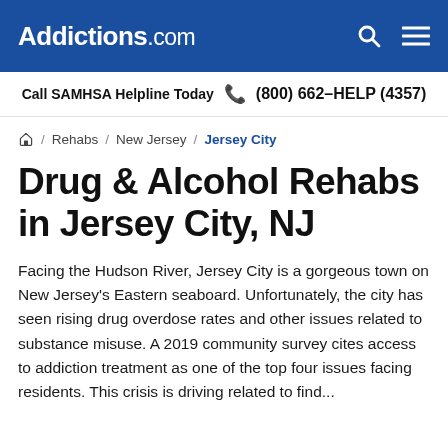Addictions.com
Call SAMHSA Helpline Today  (800) 662-HELP (4357)
Home / Rehabs / New Jersey / Jersey City
Drug & Alcohol Rehabs in Jersey City, NJ
Facing the Hudson River, Jersey City is a gorgeous town on New Jersey's Eastern seaboard. Unfortunately, the city has seen rising drug overdose rates and other issues related to substance misuse. A 2019 community survey cites access to addiction treatment as one of the top four issues facing residents. This crisis is driving related to find...